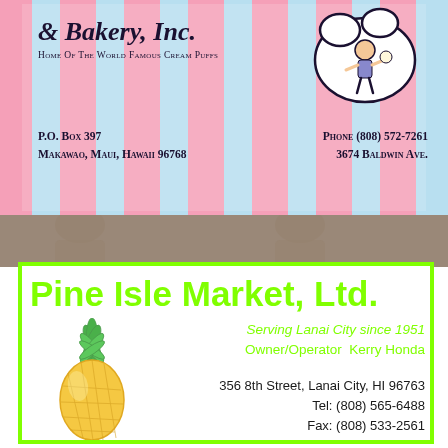[Figure (illustration): Bakery business card with pink and blue vertical stripes, cursive logo text '& Bakery, Inc.', subtitle 'Home Of The World Famous Cream Puffs', mascot illustration of a character holding a cream puff, contact info: P.O. Box 397, Makawao, Maui, Hawaii 96768, Phone (808) 572-7261, 3674 Baldwin Ave.]
[Figure (illustration): Photo strip background showing two people, muted/faded]
[Figure (illustration): Pine Isle Market Ltd. business card with lime green border, pineapple illustration, green text title 'Pine Isle Market, Ltd.', green text 'Serving Lanai City since 1951', green text 'Owner/Operator Kerry Honda', black text address '356 8th Street, Lanai City, HI 96763', 'Tel: (808) 565-6488', 'Fax: (808) 533-2561']